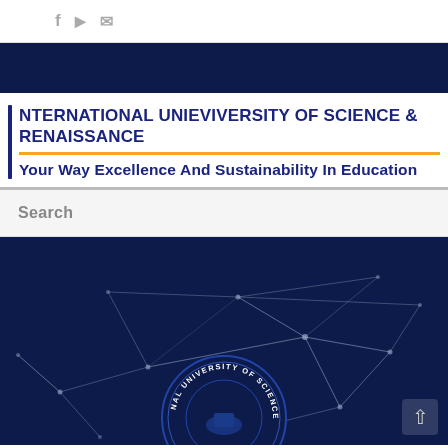f  yt  ✉  (social icons bar)
[Figure (screenshot): Dark navy navigation strip]
INTERNATIONAL UNIEVIVERSITY OF SCIENCE & RENAISSANCE
Your Way Excellence And Sustainability In Education
Search
[Figure (illustration): Dark navy hero background with abstract white geometric network/constellation lines pattern and a circular university seal at bottom center reading 'NATIONAL UNIVERSITY OF SCIENCE & R...' with an up-arrow button at bottom right]